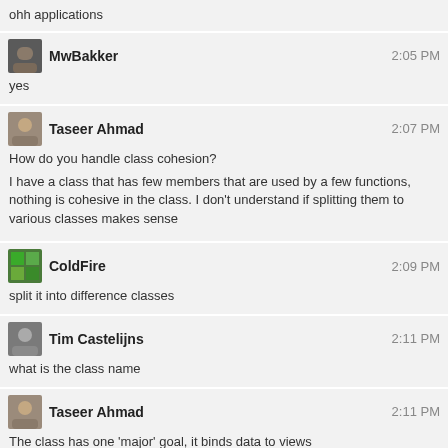ohh applications
MwBakker 2:05 PM
yes
Taseer Ahmad 2:07 PM
How do you handle class cohesion?
I have a class that has few members that are used by a few functions, nothing is cohesive in the class. I don't understand if splitting them to various classes makes sense
ColdFire 2:09 PM
split it into difference classes
Tim Castelijns 2:11 PM
what is the class name
Taseer Ahmad 2:11 PM
The class has one 'major' goal, it binds data to views
Generic name, "ViewHolder"
ColdFire 2:12 PM
ViewBinder
extends MajorGoal
Taseer Ahmad 2:13 PM
Suppose if I have two strings to bind to a view, they are largely unique in characteristic. Should I create a class for each string binding?